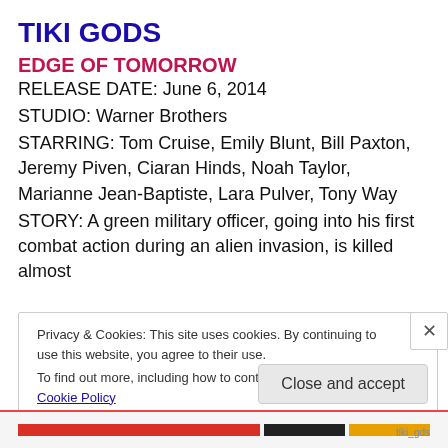TIKI GODS
EDGE OF TOMORROW
RELEASE DATE: June 6, 2014
STUDIO: Warner Brothers
STARRING: Tom Cruise, Emily Blunt, Bill Paxton, Jeremy Piven, Ciaran Hinds, Noah Taylor, Marianne Jean-Baptiste, Lara Pulver, Tony Way
STORY: A green military officer, going into his first combat action during an alien invasion, is killed almost
Privacy & Cookies: This site uses cookies. By continuing to use this website, you agree to their use.
To find out more, including how to control cookies, see here: Cookie Policy
Close and accept